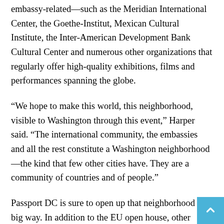embassy-related—such as the Meridian International Center, the Goethe-Institut, Mexican Cultural Institute, the Inter-American Development Bank Cultural Center and numerous other organizations that regularly offer high-quality exhibitions, films and performances spanning the globe.
“We hope to make this world, this neighborhood, visible to Washington through this event,” Harper said. “The international community, the embassies and all the rest constitute a Washington neighborhood—the kind that few other cities have. They are a community of countries and of people.”
Passport DC is sure to open up that neighborhood in a big way. In addition to the EU open house, other highlights include the family-friendly International Children’s Festival the Meridian on May 10, concerts by the Embassy Series,